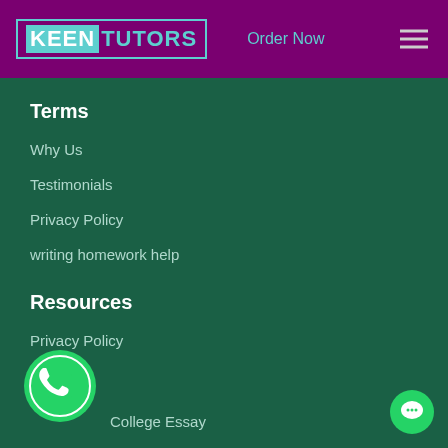KEENTUTORS | Order Now
Terms
Why Us
Testimonials
Privacy Policy
writing homework help
Resources
Privacy Policy
About Us
College Essay
[Figure (logo): WhatsApp button icon (green circle with phone handset)]
[Figure (logo): Chat button icon (small green circle with chat bubble)]